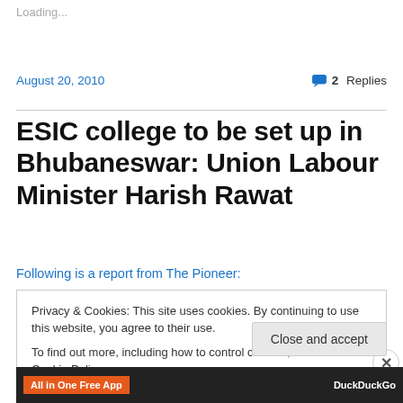Loading...
August 20, 2010
2 Replies
ESIC college to be set up in Bhubaneswar: Union Labour Minister Harish Rawat
Following is a report from The Pioneer:
Privacy & Cookies: This site uses cookies. By continuing to use this website, you agree to their use.
To find out more, including how to control cookies, see here: Cookie Policy